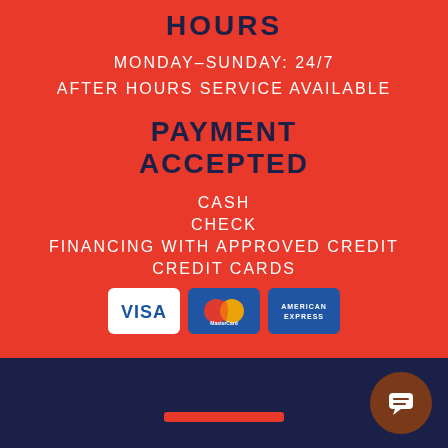HOURS
MONDAY–SUNDAY: 24/7
AFTER HOURS SERVICE AVAILABLE
PAYMENT ACCEPTED
CASH
CHECK
FINANCING WITH APPROVED CREDIT
CREDIT CARDS
[Figure (logo): Visa, MasterCard, and American Express credit card logos]